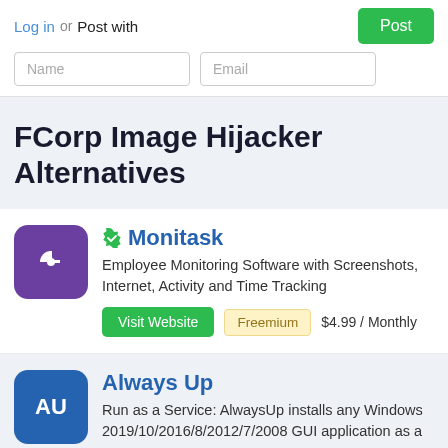Log in or Post with
FCorp Image Hijacker Alternatives
Monitask
Employee Monitoring Software with Screenshots, Internet, Activity and Time Tracking
Visit Website  Freemium  $4.99 / Monthly
Always Up
Run as a Service: AlwaysUp installs any Windows 2019/10/2016/8/2012/7/2008 GUI application as a